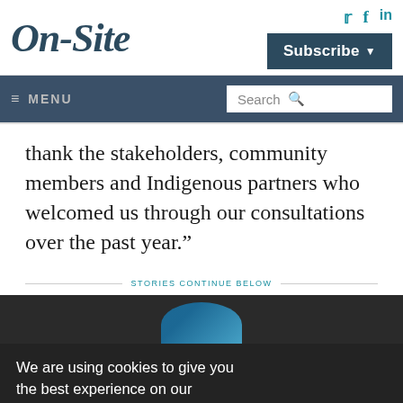[Figure (logo): On-Site website logo and navigation header with social icons, Subscribe button, menu bar and search box]
thank the stakeholders, community members and Indigenous partners who welcomed us through our consultations over the past year.”
STORIES CONTINUE BELOW
[Figure (photo): Dark image strip with blue circular shape visible at top]
We are using cookies to give you the best experience on our website. By continuing to use the site, you agree to the use of cookies. To find out more, read our privacy policy.